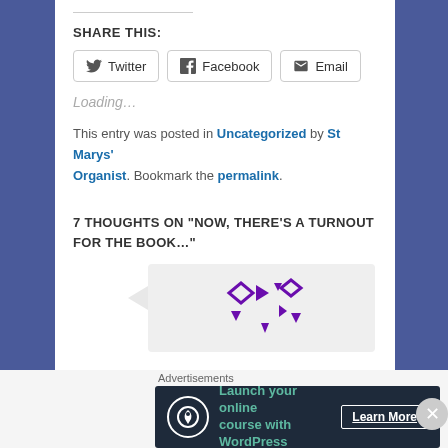SHARE THIS:
Twitter  Facebook  Email
Loading...
This entry was posted in Uncategorized by St Marys' Organist. Bookmark the permalink.
7 THOUGHTS ON “NOW, THERE’S A TURNOUT FOR THE BOOK...”
[Figure (illustration): WordPress avatar icon with purple geometric diamond and triangle shapes on light background, inside a speech bubble]
Advertisements
[Figure (infographic): Dark banner ad: Launch your online course with WordPress. Learn More button. Circle icon with person/tree symbol.]